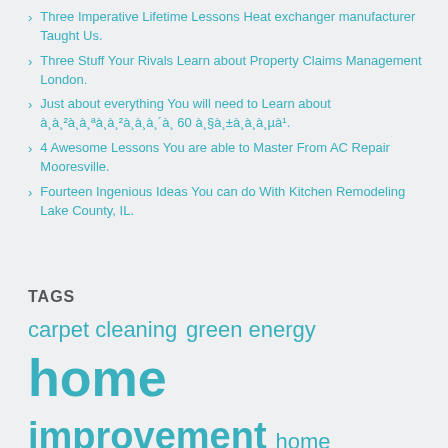Three Imperative Lifetime Lessons Heat exchanger manufacturer Taught Us.
Three Stuff Your Rivals Learn about Property Claims Management London.
Just about everything You will need to Learn about à¸à¸²à¸à¸ªà¸à¸²à¸à¸à¸´à¸ 60 à¸§à¸±à¸à¸à¸µà¹.
4 Awesome Lessons You are able to Master From AC Repair Mooresville.
Fourteen Ingenious Ideas You can do With Kitchen Remodeling Lake County, IL.
TAGS
carpet cleaning  green energy  home improvement  home mortgages  home security  HVAC  insurance - home owner's  interior design  landscaping